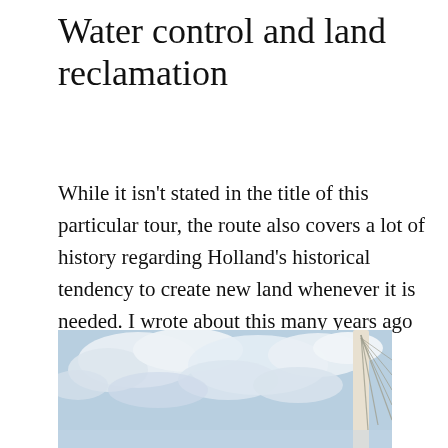Water control and land reclamation
While it isn't stated in the title of this particular tour, the route also covers a lot of history regarding Holland's historical tendency to create new land whenever it is needed. I wrote about this many years ago as “Watery hubris.”
[Figure (photo): Photograph of a cable-stayed bridge pylon with cables against a partly cloudy sky. Only the upper right portion of the pylon and radiating cables are visible.]